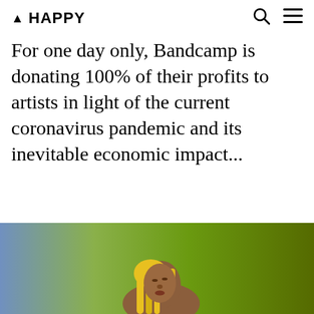▲ HAPPY
For one day only, Bandcamp is donating 100% of their profits to artists in light of the current coronavirus pandemic and its inevitable economic impact...
[Figure (photo): A woman with bright yellow dreadlocks looking upward against a green and blue background]